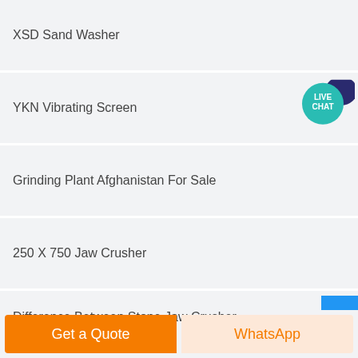XSD Sand Washer
YKN Vibrating Screen
Grinding Plant Afghanistan For Sale
250 X 750 Jaw Crusher
Difference Between Stone Jaw Crusher In Eritrea
Where To Buy Replacement Carbide Stump Grinder Teeth
Get a Quote
WhatsApp